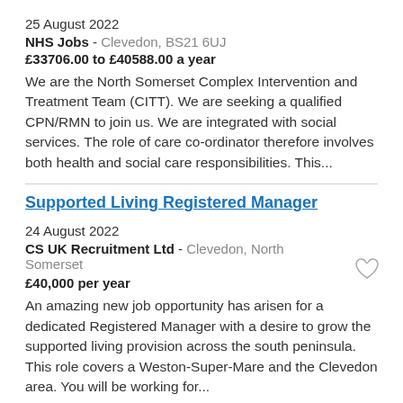25 August 2022
NHS Jobs - Clevedon, BS21 6UJ
£33706.00 to £40588.00 a year
We are the North Somerset Complex Intervention and Treatment Team (CITT). We are seeking a qualified CPN/RMN to join us. We are integrated with social services. The role of care co-ordinator therefore involves both health and social care responsibilities. This...
Supported Living Registered Manager
24 August 2022
CS UK Recruitment Ltd - Clevedon, North Somerset
£40,000 per year
An amazing new job opportunity has arisen for a dedicated Registered Manager with a desire to grow the supported living provision across the south peninsula. This role covers a Weston-Super-Mare and the Clevedon area. You will be working for...